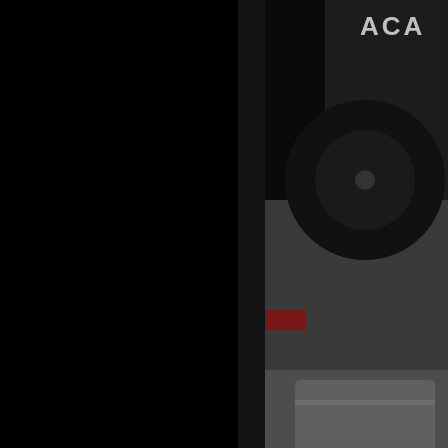[Figure (photo): Partial view of a dark photo showing what appears to be a vinyl record or dark circular object with 'ACA' text visible at top, on a dark background. Located in the top-right area of the page.]
[Figure (photo): Small avatar/profile picture of a person with dark hair against a colorful background, belonging to user nitroangus23.]
nitroangus23
Feb 12th
2012
Posted